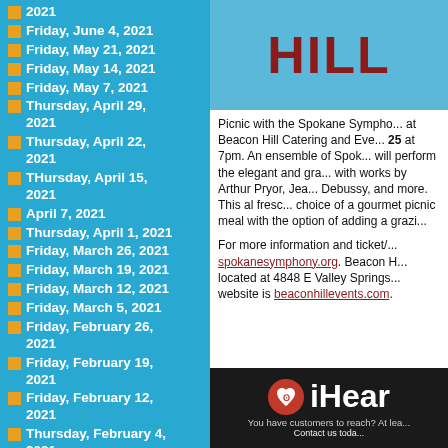2021
Friday, June 4, 2021
Friday, May 21, 2021
Friday, May 14, 2021
Friday, May 7, 2021
Thursday, April 29, 2021
Thursday, April 22, 2021
THursday, April 15, 2021
April 7, 2021
Thursday, April 1, 2021
Friday, March 26, 2021
Friday, March 19, 2021
Friday, March 12, 2021
Friday, March 5, 2021
Friday, February 26, 2021
Friday, February 19, 2021
Friday, February 12, 2021
Thursday, February 4, 2021
Friday, January 29, 2021
Thursday, January 21,
[Figure (illustration): Beacon Hill logo/header image with text 'HILL' visible on light blue background]
Picnic with the Spokane Sympho... at Beacon Hill Catering and Eve... 25 at 7pm. An ensemble of Spok... will perform the elegant and gra... with works by Arthur Pryor, Jea... Debussy, and more. This al fresc... choice of a gourmet picnic meal with the option of adding a grazi...
For more information and ticket/... spokanesymphony.org. Beacon H... located at 4848 E Valley Springs... website is beaconhillevents.com.
[Figure (logo): iHeartMedia advertisement banner with heart logo, text 'iHear' visible, 'You have customers to reach? At lea...' and 'Contact us toda...']